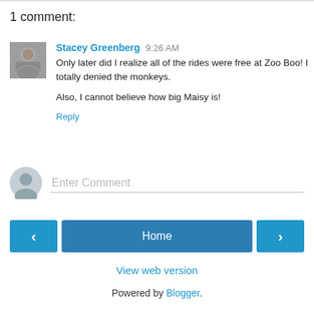1 comment:
Stacey Greenberg 9:26 AM
Only later did I realize all of the rides were free at Zoo Boo! I totally denied the monkeys.

Also, I cannot believe how big Maisy is!

Reply
[Figure (photo): Profile photo of commenter Stacey Greenberg, a woman with glasses]
[Figure (illustration): Generic user avatar icon in grey]
Enter Comment
Home
View web version
Powered by Blogger.